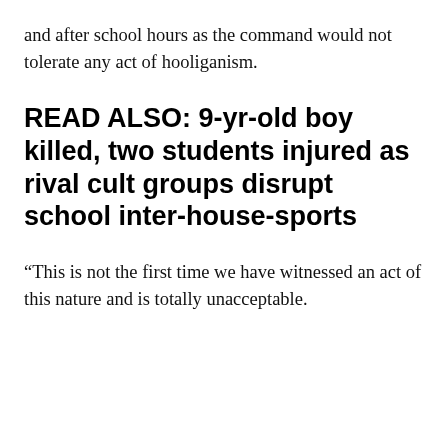and after school hours as the command would not tolerate any act of hooliganism.
READ ALSO: 9-yr-old boy killed, two students injured as rival cult groups disrupt school inter-house-sports
“This is not the first time we have witnessed an act of this nature and is totally unacceptable.